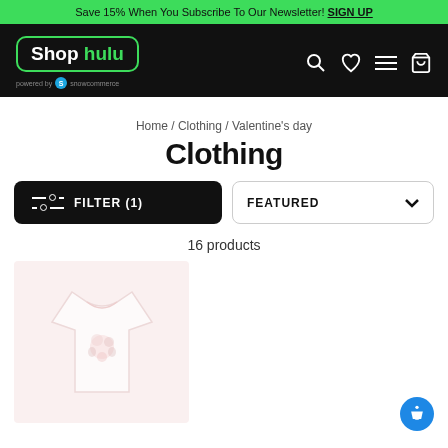Save 15% When You Subscribe To Our Newsletter! SIGN UP
[Figure (logo): Shop hulu logo on black navigation bar with search, heart, menu, and cart icons. Powered by Snowcommerce.]
Home / Clothing / Valentine's day
Clothing
FILTER (1)   FEATURED
16 products
[Figure (photo): White t-shirt with faint floral graphic design, partially visible product thumbnail]